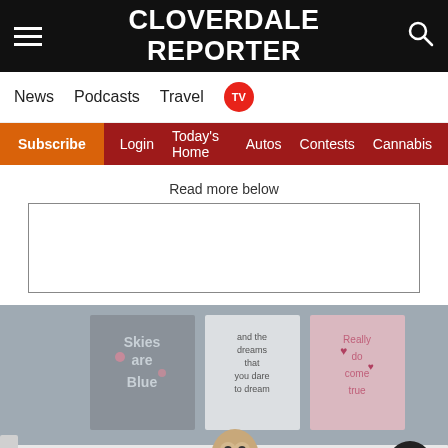CLOVERDALE REPORTER
News  Podcasts  Travel  TV
Subscribe  Login  Today's Home  Autos  Contests  Cannabis
Read more below
[Figure (other): Advertisement placeholder box (empty white rectangle with border)]
[Figure (photo): Baby nursery room photo showing three wall art canvases reading 'Skies are Blue', 'and the dreams that you dare to dream', and 'Really do come true' above a white crib with an owl stuffed animal]